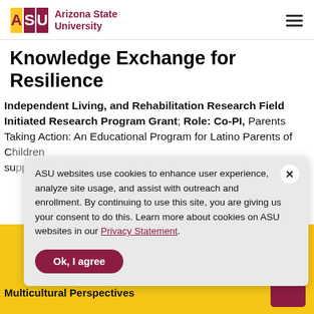ASU Arizona State University
Knowledge Exchange for Resilience
Independent Living, and Rehabilitation Research Field Initiated Research Program Grant; Role: Co-PI, Parents Taking Action: An Educational Program for Latino Parents of Children... su...
ASU websites use cookies to enhance user experience, analyze site usage, and assist with outreach and enrollment. By continuing to use this site, you are giving us your consent to do this. Learn more about cookies on ASU websites in our Privacy Statement.
Ok, I agree
Multicultural Perspectives